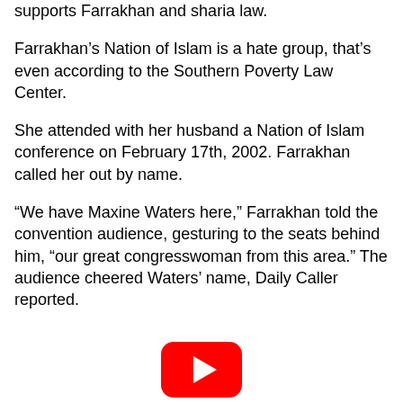supports Farrakhan and sharia law.
Farrakhan's Nation of Islam is a hate group, that's even according to the Southern Poverty Law Center.
She attended with her husband a Nation of Islam conference on February 17th, 2002. Farrakhan called her out by name.
“We have Maxine Waters here,” Farrakhan told the convention audience, gesturing to the seats behind him, “our great congresswoman from this area.” The audience cheered Waters’ name, Daily Caller reported.
[Figure (logo): YouTube logo icon (red rounded rectangle with white play triangle) at bottom center of page]